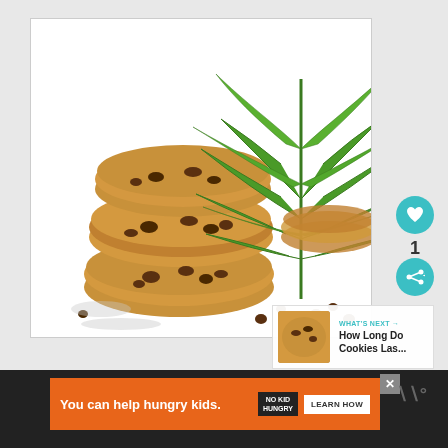[Figure (photo): Stack of chocolate chip cookies with a large green cannabis/marijuana leaf on top and behind them, on a white surface with scattered chocolate chips. White background.]
[Figure (photo): Small thumbnail image of a chocolate chip cookie, used in 'What's Next' panel]
WHAT'S NEXT → How Long Do Cookies Las...
1
You can help hungry kids. NO KID HUNGRY LEARN HOW